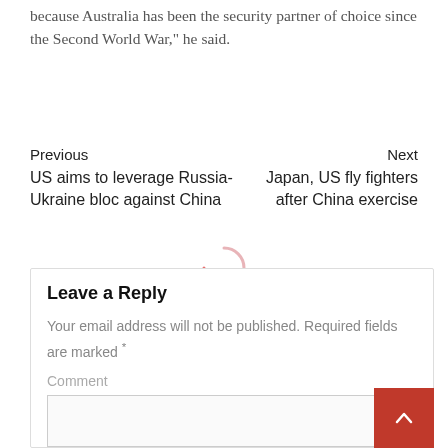because Australia has been the security partner of choice since the Second World War," he said.
Previous
US aims to leverage Russia-Ukraine bloc against China
Next
Japan, US fly fighters after China exercise
[Figure (other): Loading spinner graphic with pink/red partial circle arcs]
Leave a Reply
Your email address will not be published. Required fields are marked *
Comment